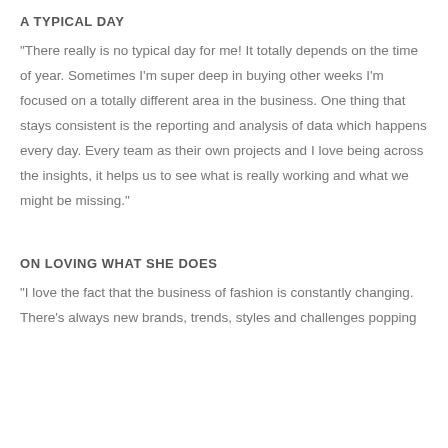A TYPICAL DAY
“There really is no typical day for me! It totally depends on the time of year. Sometimes I’m super deep in buying other weeks I’m focused on a totally different area in the business. One thing that stays consistent is the reporting and analysis of data which happens every day. Every team as their own projects and I love being across the insights, it helps us to see what is really working and what we might be missing.”
ON LOVING WHAT SHE DOES
“I love the fact that the business of fashion is constantly changing. There’s always new brands, trends, styles and challenges popping